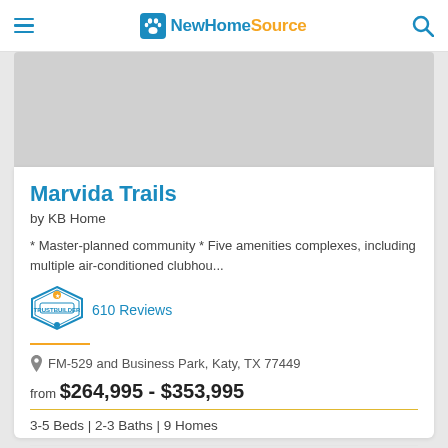NewHomeSource
[Figure (photo): Gray image placeholder for community photo]
Marvida Trails
by KB Home
* Master-planned community * Five amenities complexes, including multiple air-conditioned clubhou...
[Figure (logo): TrustBuilder badge logo]
610 Reviews
FM-529 and Business Park, Katy, TX 77449
from $264,995 - $353,995
3-5 Beds | 2-3 Baths | 9 Homes
Get Brochure